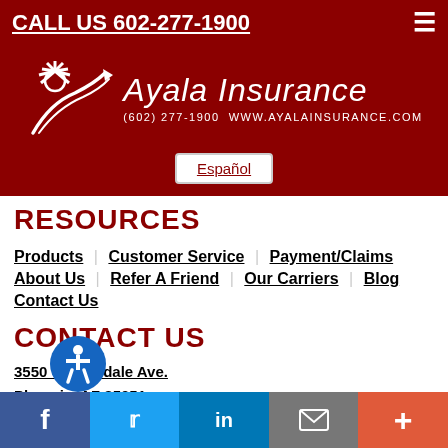CALL US 602-277-1900
[Figure (logo): Ayala Insurance logo with sun/road graphic, company name, phone (602) 277-1900, and website WWW.AYALAINSURANCE.COM on dark red background]
Español
RESOURCES
Products
Customer Service
Payment/Claims
About Us
Refer A Friend
Our Carriers
Blog
Contact Us
CONTACT US
3550 W Glendale Ave.
Phoenix, AZ 85051
P: 602-238-9574 | F: 602-238-9575 | E: quotes@ayalainsurance.com